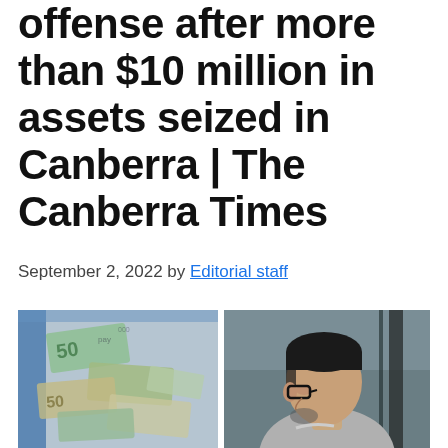offense after more than $10 million in assets seized in Canberra | The Canberra Times
September 2, 2022 by Editorial staff
[Figure (photo): Two side-by-side photographs: left shows Canadian banknotes scattered in a clear plastic bag including visible $50 bills; right shows a South Asian man with short dark hair, glasses, and a grey sweater, photographed from the side outdoors.]